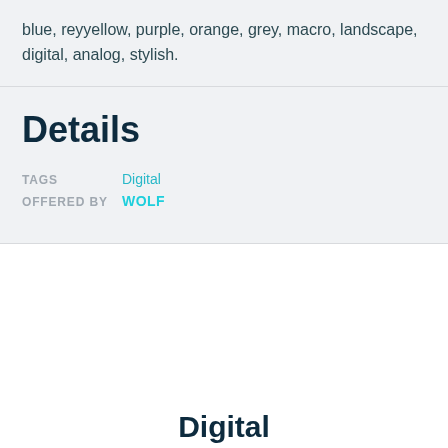blue, reyyellow, purple, orange, grey, macro, landscape, digital, analog, stylish.
Details
TAGS  Digital
OFFERED BY  WOLF
Digital